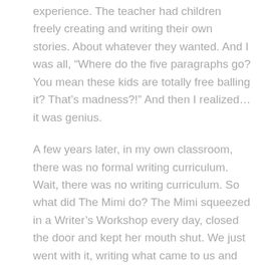experience. The teacher had children freely creating and writing their own stories. About whatever they wanted. And I was all, “Where do the five paragraphs go? You mean these kids are totally free balling it? That’s madness?!” And then I realized…it was genius.
A few years later, in my own classroom, there was no formal writing curriculum. Wait, there was no writing curriculum. So what did The Mimi do? The Mimi squeezed in a Writer’s Workshop every day, closed the door and kept her mouth shut. We just went with it, writing what came to us and learning along the way. To this day, the freedom and love of writing I experienced with those kids are